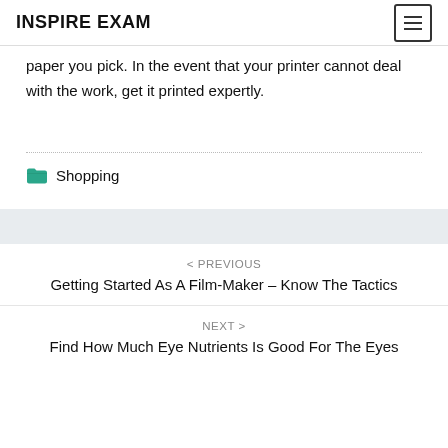INSPIRE EXAM
paper you pick. In the event that your printer cannot deal with the work, get it printed expertly.
Shopping
< PREVIOUS
Getting Started As A Film-Maker – Know The Tactics
NEXT >
Find How Much Eye Nutrients Is Good For The Eyes